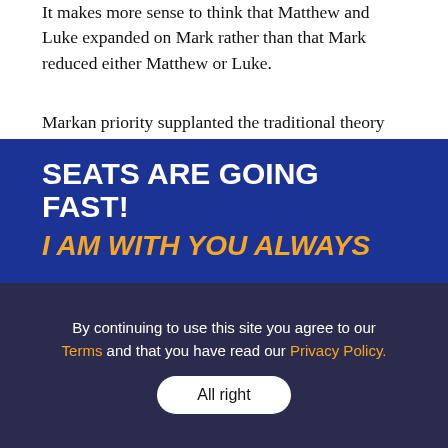It makes more sense to think that Matthew and Luke expanded on Mark rather than that Mark reduced either Matthew or Luke.
Markan priority supplanted the traditional theory that held that the first three Gospels were written in the order in which they appear in our Bibles: Matthew, Mark, and then Luke. The traditional theory was advocated by Augustine, so his name often is identified with it. It did not receive much opposition from scholars until the eighteenth century.
[Figure (infographic): Dark blue advertisement banner reading 'SEATS ARE GOING FAST!' in bold white uppercase text and 'I AM WITH YOU ALWAYS' in bold italic orange uppercase text.]
By continuing to use this site you agree to our Terms and that you have read our Privacy Policy. All right